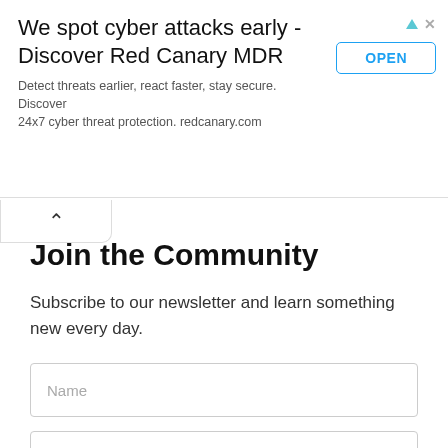[Figure (screenshot): Advertisement banner: 'We spot cyber attacks early - Discover Red Canary MDR' with subtitle 'Detect threats earlier, react faster, stay secure. Discover 24x7 cyber threat protection. redcanary.com' and an OPEN button on the right.]
Join the Community
Subscribe to our newsletter and learn something new every day.
Name (input field placeholder)
Email Address (input field placeholder)
Subscribe (button)